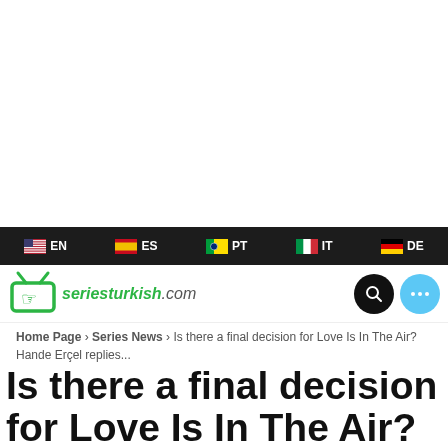[Figure (screenshot): White empty area at top of page (advertisement space)]
EN  ES  PT  IT  DE  (language selection bar)
[Figure (logo): seriesturkish.com logo with green TV icon]
Home Page > Series News > Is there a final decision for Love Is In The Air? Hande Erçel replies...
Is there a final decision for Love Is In The Air? Hande Erçel replies...